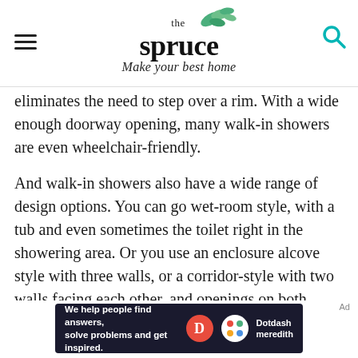the spruce — Make your best home
eliminates the need to step over a rim. With a wide enough doorway opening, many walk-in showers are even wheelchair-friendly.
And walk-in showers also have a wide range of design options. You can go wet-room style, with a tub and even sometimes the toilet right in the showering area. Or you use an enclosure alcove style with three walls, or a corridor-style with two walls facing each other, and openings on both sides. Some doorless showers even have no walls at all!
[Figure (other): Dotdash Meredith advertisement banner: 'We help people find answers, solve problems and get inspired.']